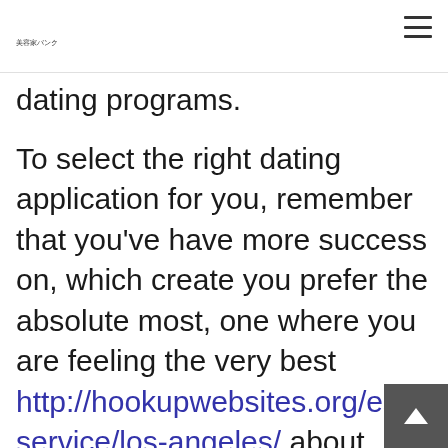美容家バンク
dating programs.
To select the right dating application for you, remember that you've have more success on, which create you prefer the absolute most, one where you are feeling the very best http://hookupwebsites.org/escort-service/los-angeles/ about yourself.
Eg, Tinder is perfect for a fast hookup. you're lookin here, simply know that as